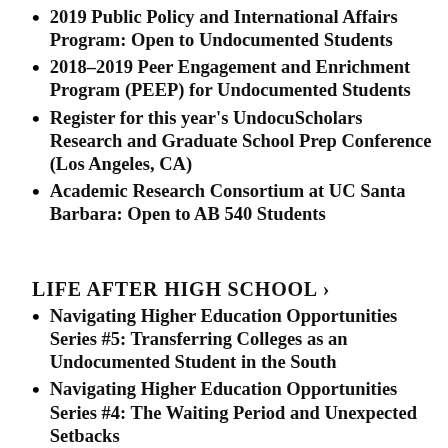2019 Public Policy and International Affairs Program: Open to Undocumented Students
2018–2019 Peer Engagement and Enrichment Program (PEEP) for Undocumented Students
Register for this year's UndocuScholars Research and Graduate School Prep Conference (Los Angeles, CA)
Academic Research Consortium at UC Santa Barbara: Open to AB 540 Students
LIFE AFTER HIGH SCHOOL ›
Navigating Higher Education Opportunities Series #5: Transferring Colleges as an Undocumented Student in the South
Navigating Higher Education Opportunities Series #4: The Waiting Period and Unexpected Setbacks